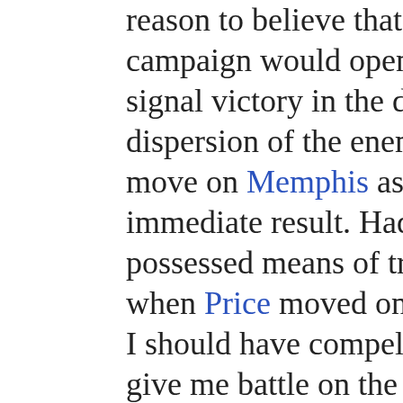reason to believe that the campaign would open with a signal victory in the defeat or dispersion of the enemy, with a move on Memphis as the immediate result. Had I possessed means of transport when Price moved on Lexington I should have compelled him to give me battle on the north side of the Osage; as he could not cross the Missouri without exposing himself to certain defeat no other course would have remained open to him. In fact, when I did go forward, the appearance of my advance at Sedalia was the signal for his precipitate retreat. The first contact now with the enemy was at Fredericktown and Springfield,--the former one of the most admirably